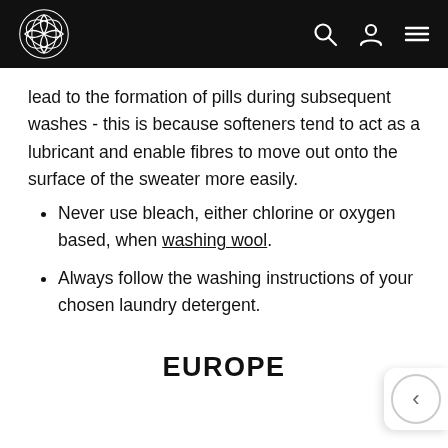Navigation bar with logo and icons
lead to the formation of pills during subsequent washes - this is because softeners tend to act as a lubricant and enable fibres to move out onto the surface of the sweater more easily.
Never use bleach, either chlorine or oxygen based, when washing wool.
Always follow the washing instructions of your chosen laundry detergent.
EUROPE